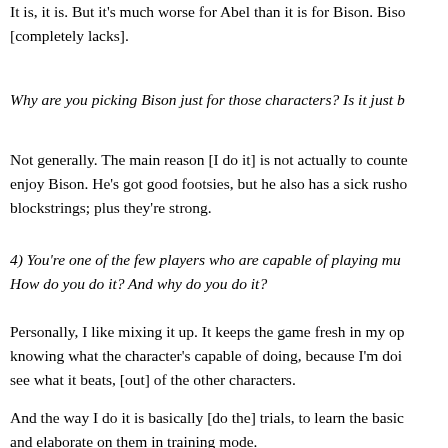It is, it is. But it's much worse for Abel than it is for Bison. Biso... [completely lacks].
Why are you picking Bison just for those characters? Is it just b...
Not generally. The main reason [I do it] is not actually to counte... enjoy Bison. He's got good footsies, but he also has a sick rusho... blockstrings; plus they're strong.
4) You're one of the few players who are capable of playing mu... How do you do it? And why do you do it?
Personally, I like mixing it up. It keeps the game fresh in my op... knowing what the character's capable of doing, because I'm doi... see what it beats, [out] of the other characters.
And the way I do it is basically [do the] trials, to learn the basic... and elaborate on them in training mode.